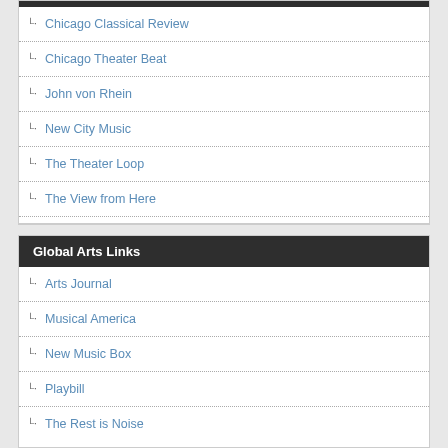Chicago Classical Review
Chicago Theater Beat
John von Rhein
New City Music
The Theater Loop
The View from Here
Global Arts Links
Arts Journal
Musical America
New Music Box
Playbill
The Rest is Noise
Closed Shows 2011-2012
A Behanding in Spokane (3 stars) at Profiles thru Dec. 4
A Catered Affair (4 stars) by Porchlight Music Theatre at Stage 773 thru April 1
A Christmas Story, The Musical! (5 stars) at Chicago Theatre thru Dec. 30